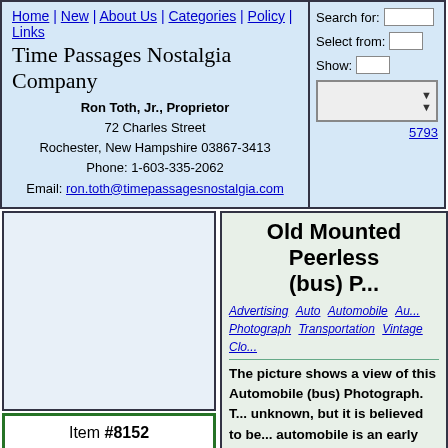Home | New | About Us | Categories | Policy | Links
Time Passages Nostalgia Company
Ron Toth, Jr., Proprietor
72 Charles Street
Rochester, New Hampshire 03867-3413
Phone: 1-603-335-2062
Email: ron.toth@timepassagesnostalgia.com
Search for:
Select from:
Show:
5793
[Figure (photo): Photo placeholder area - light blue empty box]
Item #8152
Price: $29.99
Old Mounted Peerless (bus) P...
Advertising  Auto  Automobile  Au...
Photograph  Transportation  Vintage Clo...
The picture shows a view of this Automobile (bus) Photograph. T... unknown, but it is believed to be... automobile is an early open air b... people in its raised seats. There i... the front. The photo has some ob... time, but a lot of detail is still vis... elephant in one of the store wind...